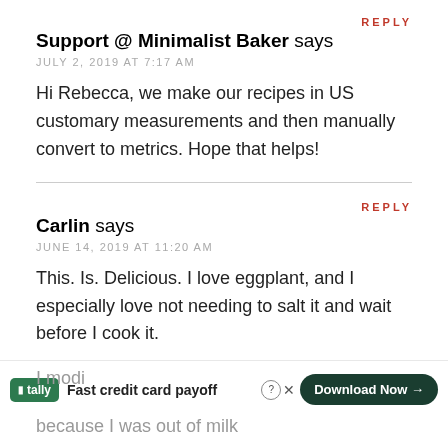REPLY
Support @ Minimalist Baker says
JULY 2, 2019 AT 7:17 AM
Hi Rebecca, we make our recipes in US customary measurements and then manually convert to metrics. Hope that helps!
REPLY
Carlin says
JUNE 14, 2019 AT 11:20 AM
This. Is. Delicious. I love eggplant, and I especially love not needing to salt it and wait before I cook it.
I modi
because I was out of milk
[Figure (screenshot): Advertisement banner for Tally app: Fast credit card payoff with Download Now button]